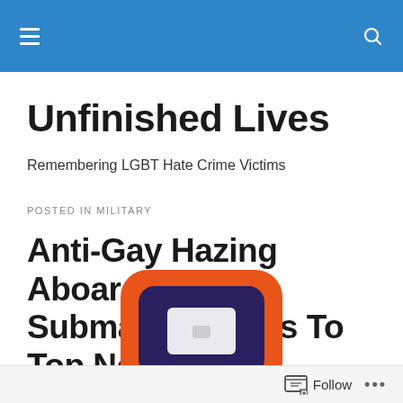Unfinished Lives — navigation bar with hamburger menu and search icon
Unfinished Lives
Remembering LGBT Hate Crime Victims
POSTED IN MILITARY
Anti-Gay Hazing Aboard Nuclear Submarine Leads To Top Non-Com Dismissal
[Figure (illustration): Orange and dark navy colored graphic illustration, partially visible at bottom of page]
Follow ...